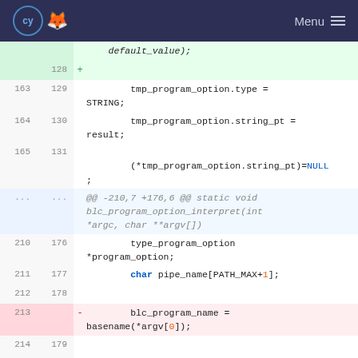Menu
Code diff view showing changes to a C source file with line numbers and diff markers. Lines 128-180 shown.